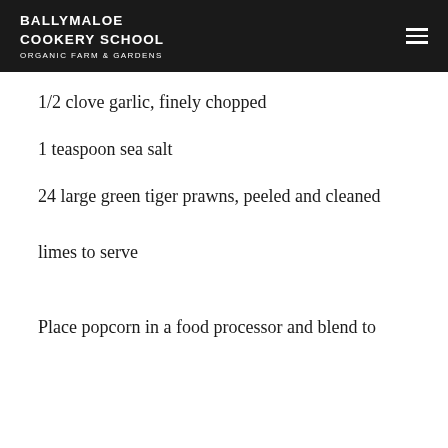BALLYMALOE COOKERY SCHOOL ORGANIC FARM & GARDENS
1/2 clove garlic, finely chopped
1 teaspoon sea salt
24 large green tiger prawns, peeled and cleaned
limes to serve
Place popcorn in a food processor and blend to